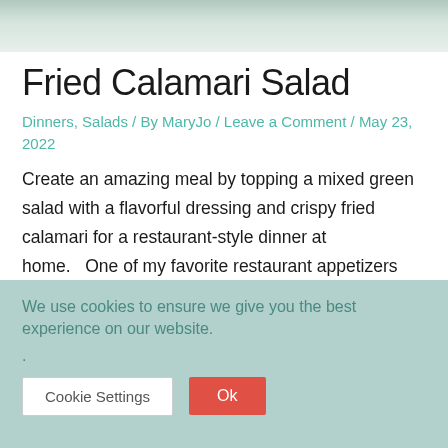[Figure (photo): Partial view of a fried calamari salad on a plate, cropped at top of page]
Fried Calamari Salad
Dinners, Salads / By MaryJo / Leave a Comment / May 23, 2022
Create an amazing meal by topping a mixed green salad with a flavorful dressing and crispy fried calamari for a restaurant-style dinner at home.   One of my favorite restaurant appetizers has always been fried calamari. It is a treat that I love to enjoy when I'm out,
We use cookies to ensure we give you the best experience on our website.
.
Cookie Settings  Ok